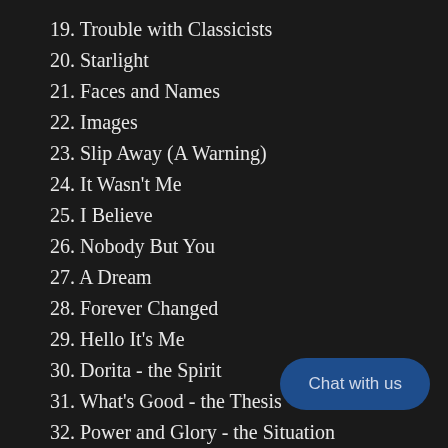19. Trouble with Classicists
20. Starlight
21. Faces and Names
22. Images
23. Slip Away (A Warning)
24. It Wasn't Me
25. I Believe
26. Nobody But You
27. A Dream
28. Forever Changed
29. Hello It's Me
30. Dorita - the Spirit
31. What's Good - the Thesis
32. Power and Glory - the Situation
33. Magician - Internally
34. Sword of Damocles - Exter…
35. Goodby Mass - in a Chapel Bodily
Termination